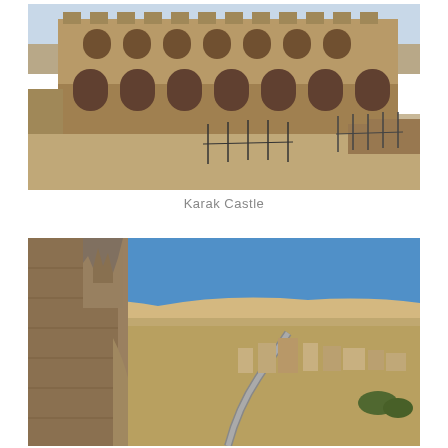[Figure (photo): Karak Castle exterior wall with arched windows and niches, sandy courtyard in foreground with metal railings, arid landscape background, stone construction.]
Karak Castle
[Figure (photo): Aerial view from Karak Castle walls showing ancient stone fortification walls on left, modern city of Karak with buildings and a winding road below, arid hills and blue sky in background.]